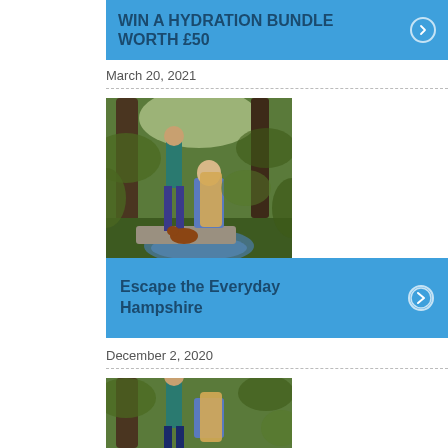WIN A HYDRATION BUNDLE WORTH £50
March 20, 2021
[Figure (photo): Person and child crouching by a stream in a forest, with a dog, surrounded by green foliage]
Escape the Everyday Hampshire
December 2, 2020
[Figure (photo): Similar outdoor forest scene with people near a stream, partially visible]